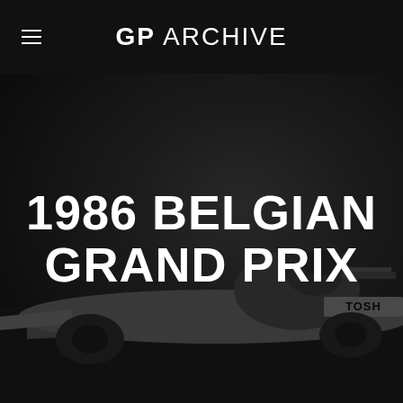GP ARCHIVE
[Figure (photo): Black and white photograph of a Formula 1 racing car from the 1986 era, with a driver in the cockpit and 'TOSHIBA' visible on the bodywork. The image is darkened with a dark overlay.]
1986 BELGIAN GRAND PRIX